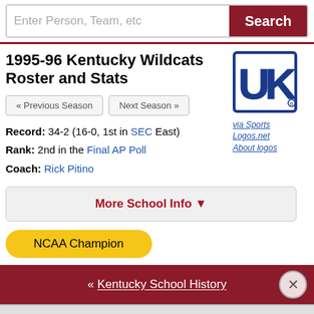Enter Person, Team, etc   Search
1995-96 Kentucky Wildcats Roster and Stats
« Previous Season
Next Season »
Record: 34-2 (16-0, 1st in SEC East)
Rank: 2nd in the Final AP Poll
Coach: Rick Pitino
[Figure (logo): University of Kentucky UK logo in blue and white]
via Sports Logos.net
About logos
More School Info ▼
NCAA Champion
« Kentucky School History
More 1995-96 Kentucky Pages ▼